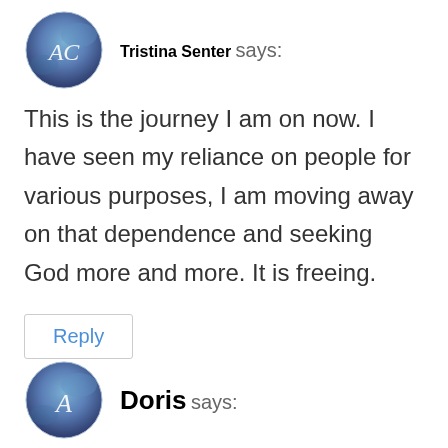[Figure (illustration): User avatar circle with 'AC' monogram on blue/purple galaxy background]
Tristina Senter says:
This is the journey I am on now. I have seen my reliance on people for various purposes, I am moving away on that dependence and seeking God more and more. It is freeing.
Reply
[Figure (illustration): User avatar circle with 'A' monogram on blue/purple galaxy background]
Doris says: